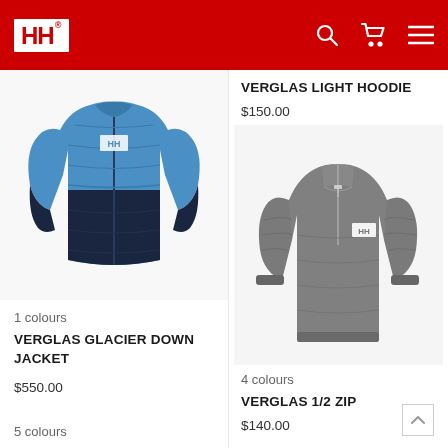HH (Helly Hansen) navigation bar with logo, search, cart, and menu icons
[Figure (photo): Blue and navy Helly Hansen Verglas Glacier Down Jacket product photo]
1 colours
VERGLAS GLACIER DOWN JACKET
$550.00
5 colours
VERGLAS LIGHT HOODIE
$150.00
[Figure (photo): Grey Helly Hansen Verglas 1/2 Zip pullover product photo]
4 colours
VERGLAS 1/2 ZIP
$140.00